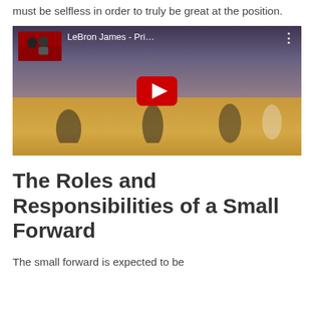must be selfless in order to truly be great at the position.
[Figure (screenshot): YouTube video embed showing a basketball game (LeBron James highlighted), with video title 'LeBron James - Pri...' and a red play button overlay.]
The Roles and Responsibilities of a Small Forward
The small forward is expected to be